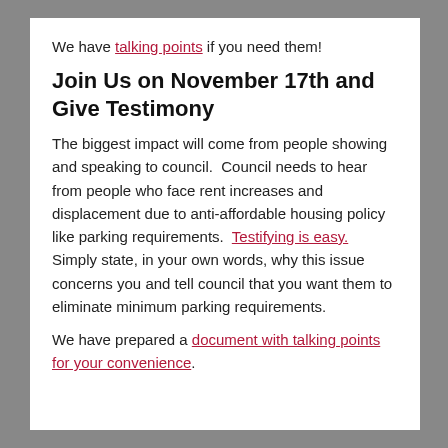We have talking points if you need them!
Join Us on November 17th and Give Testimony
The biggest impact will come from people showing and speaking to council.  Council needs to hear from people who face rent increases and displacement due to anti-affordable housing policy like parking requirements.  Testifying is easy.  Simply state, in your own words, why this issue concerns you and tell council that you want them to eliminate minimum parking requirements.
We have prepared a document with talking points for your convenience.